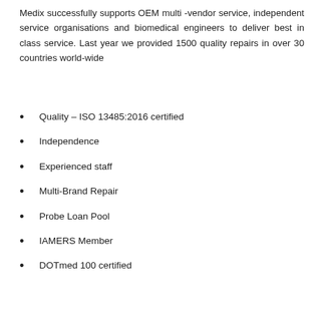Medix successfully supports OEM multi -vendor service, independent service organisations and biomedical engineers to deliver best in class service. Last year we provided 1500 quality repairs in over 30 countries world-wide
Quality – ISO 13485:2016 certified
Independence
Experienced staff
Multi-Brand Repair
Probe Loan Pool
IAMERS Member
DOTmed 100 certified